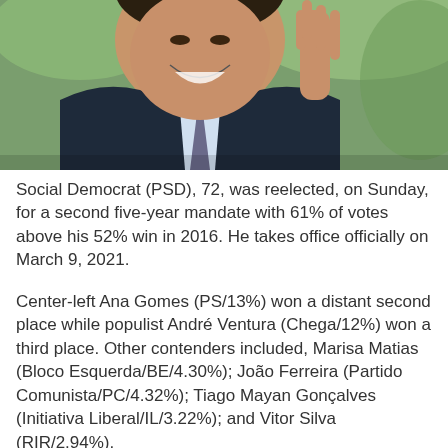[Figure (photo): Close-up photo of a smiling man in a dark suit and light blue tie, raising his right hand in a wave. Background is blurred green/outdoor setting.]
Social Democrat (PSD), 72, was reelected, on Sunday, for a second five-year mandate with 61% of votes above his 52% win in 2016. He takes office officially on March 9, 2021.
Center-left Ana Gomes (PS/13%) won a distant second place while populist André Ventura (Chega/12%) won a third place. Other contenders included, Marisa Matias (Bloco Esquerda/BE/4.30%); João Ferreira (Partido Comunista/PC/4.32%); Tiago Mayan Gonçalves (Initiativa Liberal/IL/3.22%); and Vitor Silva (RIR/2.94%).
Absenteeism was high with a turnout of 45.45%, a...